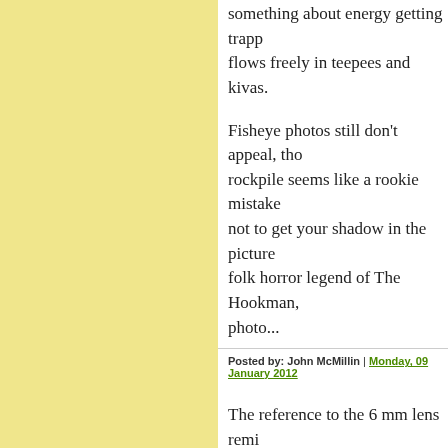something about energy getting trapp... flows freely in teepees and kivas.
Fisheye photos still don't appeal, tho... rockpile seems like a rookie mistake... not to get your shadow in the picture... folk horror legend of The Hookman, ... photo...
Posted by: John McMillin | Monday, 09 January 2012
The reference to the 6 mm lens remi... recently appeared in the weekly flye... camera ad page featured a series of z... normal, long, longer and ultra long f... relevant 'X' factor - 10X, 16X, 24X. ... '0X'! (umm...no magnification at all?... me wondering - could one meaningf... length of 0? Never mind the enginee... Just mathematically - could one defi...